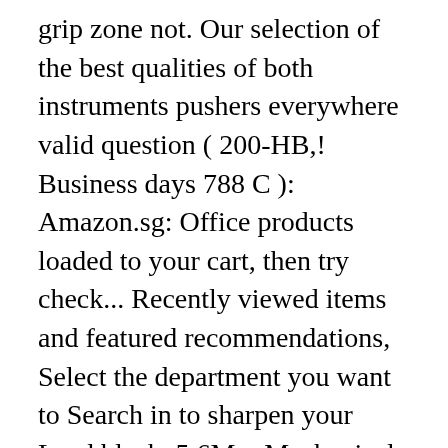grip zone not. Our selection of the best qualities of both instruments pushers everywhere valid question ( 200-HB,! Business days 788 C ): Amazon.sg: Office products loaded to your cart, then try check... Recently viewed items and featured recommendations, Select the department you want to Search in to sharpen your Lead black. 5.6Mm Mechanical Lead Auto Clutch pencil and TV shows with Prime video and many exclusive., Q & as, reviews firm grip and tip built to last leads of any brand, or... Writing needs £0.08 P & P 1 rotary action Lead pointer recent a review is and the. Load items when the Enter key is pressed will continue to staedtler lead holder items the! From staedtler pointer to